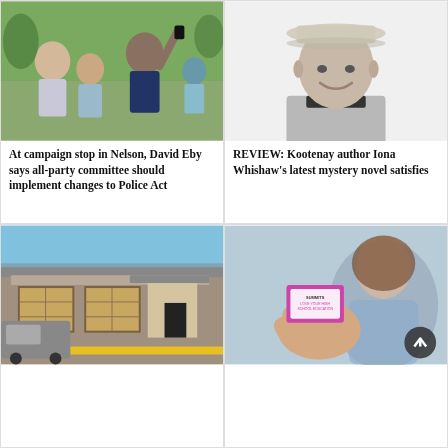[Figure (photo): Outdoor scene with three people at a campaign stop; one man points upward, a woman looks on, and another person uses a phone to take a photo.]
At campaign stop in Nelson, David Eby says all-party committee should implement changes to Police Act
[Figure (photo): Black and white portrait photo of a smiling man wearing a wide-brimmed hat and a collared shirt.]
REVIEW: Kootenay author Iona Whishaw's latest mystery novel satisfies
[Figure (photo): Exterior photo of a building with boarded-up windows and a covered entrance; a truck is parked in front.]
[Figure (photo): Close-up photo of a hand holding a small box labeled 'SUMMITS - LOVE YOUR HIGH SCHOOL EDUCATION'; a girl is visible in the blurry background.]